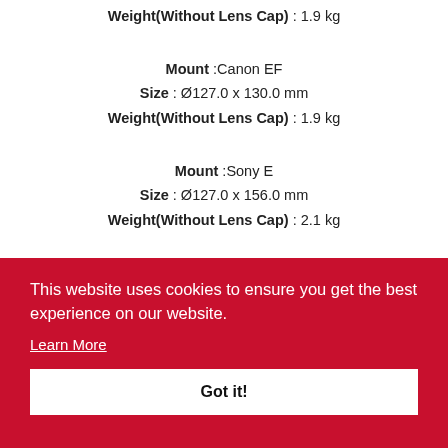Weight(Without Lens Cap) : 1.9 kg
Mount :Canon EF
Size : Ø127.0 x 130.0 mm
Weight(Without Lens Cap) : 1.9 kg
Mount :Sony E
Size : Ø127.0 x 156.0 mm
Weight(Without Lens Cap) : 2.1 kg
This website uses cookies to ensure you get the best experience on our website.
Learn More
Got it!